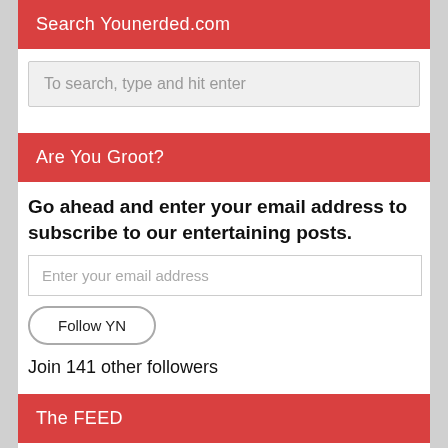Search Younerded.com
To search, type and hit enter
Are You Groot?
Go ahead and enter your email address to subscribe to our entertaining posts.
Enter your email address
Follow YN
Join 141 other followers
The FEED
The Night Of: “The Call of the Wild” Review